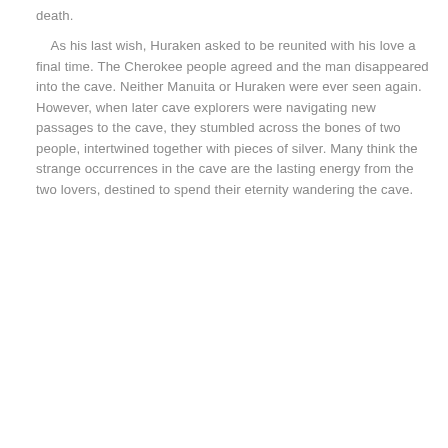death.

    As his last wish,  Huraken asked to be reunited with his love a final time.  The Cherokee people agreed and the man disappeared into the cave.   Neither  Manuita or  Huraken were ever seen again.   However, when later cave explorers were navigating new passages to the cave, they stumbled across the bones of two people, intertwined together with pieces of silver.   Many think the strange occurrences in the cave are the lasting energy from the two lovers, destined to spend their eternity wandering the cave.